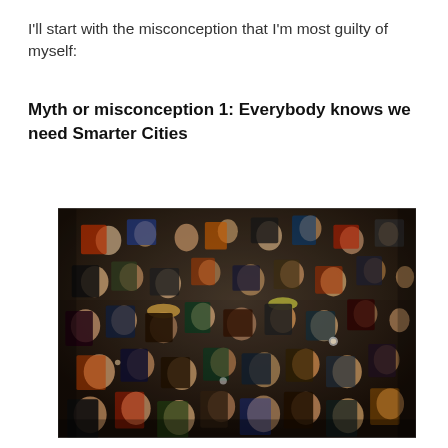I'll start with the misconception that I'm most guilty of myself:
Myth or misconception 1: Everybody knows we need Smarter Cities
[Figure (photo): A large dense crowd of people packed tightly together, photographed from above at an angle. The crowd fills the entire frame with hundreds of faces visible. People are wearing winter clothing in dark colors with occasional bright accents of orange, red, blue, green, and yellow. The lighting is dim, suggesting an indoor venue or nighttime outdoor event.]